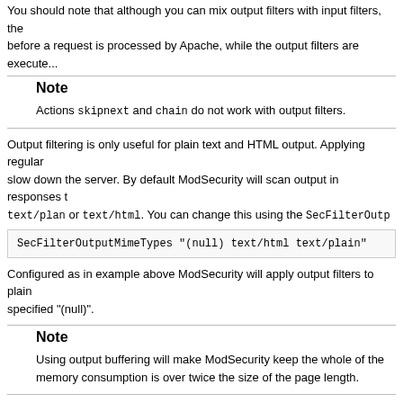You should note that although you can mix output filters with input filters, the input filters are executed before a request is processed by Apache, while the output filters are execute...
Note
Actions skipnext and chain do not work with output filters.
Output filtering is only useful for plain text and HTML output. Applying regular expressions to binary output will slow down the server. By default ModSecurity will scan output in responses that have the content type text/plan or text/html. You can change this using the SecFilterOutp...
SecFilterOutputMimeTypes "(null) text/html text/plain"
Configured as in example above ModSecurity will apply output filters to plain... specified "(null)".
Note
Using output buffering will make ModSecurity keep the whole of the response in memory. memory consumption is over twice the size of the page length.
While output monitoring is a useful feature in some circumstances you should... control of request processing she can evade output monitoring in two ways: